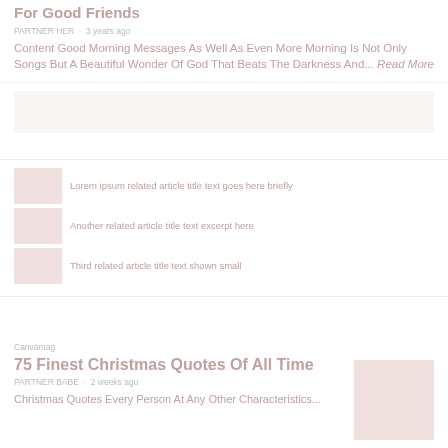For Good Friends
PARTNER HER · 3 years ago
Content Good Morning Messages As Well As Even More Morning Is Not Only Songs But A Beautiful Wonder Of God That Beats The Darkness And... Read More
[Figure (other): Blurred article image placeholder row]
[Figure (other): Mid section related article thumbnails]
Canva mag
75 Finest Christmas Quotes Of All Time
PARTNER BABE · 2 weeks ago
Christmas Quotes Every Person At Any Other Characteristics...
[Figure (photo): Small thumbnail image for Christmas quotes article]